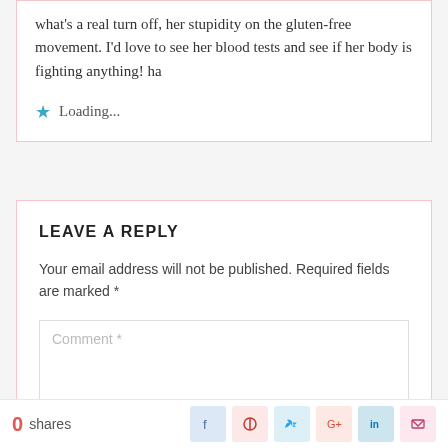what's a real turn off, her stupidity on the gluten-free movement. I'd love to see her blood tests and see if her body is fighting anything! ha
Loading...
LEAVE A REPLY
Your email address will not be published. Required fields are marked *
Comment *
0 shares